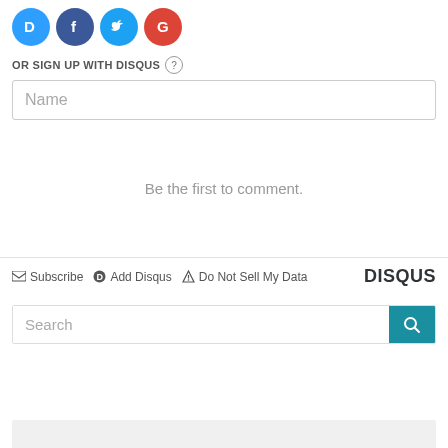[Figure (illustration): Social login icons: Disqus (blue), Facebook (dark blue), Twitter (light blue), Google (red)]
OR SIGN UP WITH DISQUS ?
Name
Be the first to comment.
Subscribe  Add Disqus  Do Not Sell My Data  DISQUS
Search